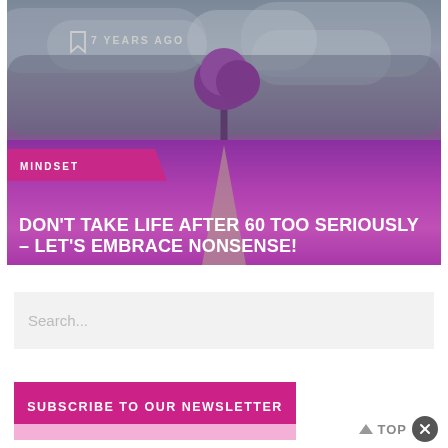[Figure (photo): Hero image showing a lavender field with a purple tree and dramatic cloudy sky, overlaid with article metadata and title]
7 YEARS AGO
MINDSET
DON'T TAKE LIFE AFTER 60 TOO SERIOUSLY – LET'S EMBRACE NONSENSE!
Search...
SUBSCRIBE TO OUR NEWSLETTER
TOP